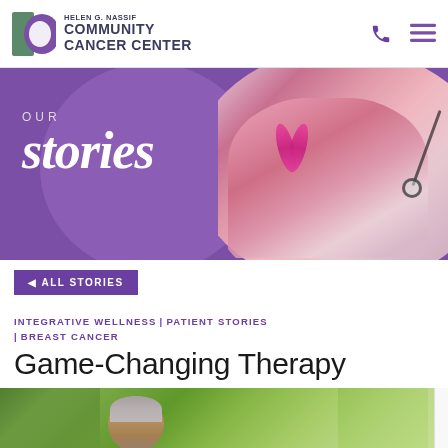Helen G. Nassif Community Cancer Center
[Figure (photo): Hero banner with purple background showing 'OUR stories' text and a nurse in pink scrubs holding a pink ribbon with a stethoscope]
◄ ALL STORIES
INTEGRATIVE WELLNESS | PATIENT STORIES | BREAST CANCER
Game-Changing Therapy
[Figure (photo): Outdoor photo of a person with short gray hair in a garden setting]